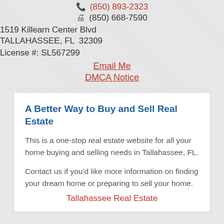(850) 893-2323
(850) 668-7590
1519 Killearn Center Blvd
TALLAHASSEE, FL  32309
License #: SL567299
Email Me
DMCA Notice
A Better Way to Buy and Sell Real Estate
This is a one-stop real estate website for all your home buying and selling needs in Tallahassee, FL.
Contact us if you'd like more information on finding your dream home or preparing to sell your home.
Tallahassee Real Estate